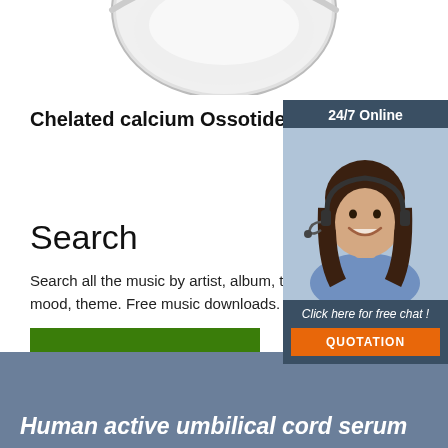[Figure (photo): Bottom portion of a round glass bowl or dish containing white powder, shown from above on white background]
Chelated calcium Ossotide drying
[Figure (photo): 24/7 Online chat widget with a woman wearing a headset smiling, with 'Click here for free chat!' text and an orange QUOTATION button]
Search
Search all the music by artist, album, track, genre, mood, theme. Free music downloads.
[Figure (other): Green 'Get Price' button]
[Figure (other): Orange TOP icon with dots above the letters]
Human active umbilical cord serum